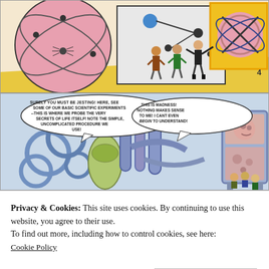[Figure (illustration): Comic book panel showing three people standing in front of a large diagram/board. Large pink circle with atomic-style orbital lines on the left, and a yellow-framed board showing a pink gear-like circle with crossing lines on the right. Number 4 visible in corner.]
[Figure (illustration): Comic book panel showing a science laboratory with complex blue machinery, tubes and coils. Two speech bubbles: left says 'SURELY YOU MUST BE JESTING! HERE, SEE SOME OF OUR BASIC SCIENTIFIC EXPERIMENTS --THIS IS WHERE WE PROBE THE VERY SECRETS OF LIFE ITSELF! NOTE THE SIMPLE, UNCOMPLICATED PROCEDURE WE USE!' and right says 'THIS IS MADNESS! NOTHING MAKES SENSE TO ME! I CANT EVEN BEGIN TO UNDERSTAND!' Three small figures visible among machinery.]
Privacy & Cookies: This site uses cookies. By continuing to use this website, you agree to their use.
To find out more, including how to control cookies, see here:
Cookie Policy
Close and accept
[Figure (illustration): Partial comic book panel visible at the bottom of the page, showing more illustrated content in blue tones.]